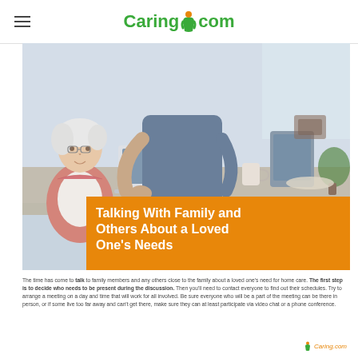Caring.com
[Figure (photo): An elderly woman with white hair and glasses wearing a pink cardigan sits with a younger person (partially visible) at a table with a laptop and tablet. Indoor setting, warm lighting.]
Talking With Family and Others About a Loved One's Needs
The time has come to talk to family members and any others close to the family about a loved one's need for home care. The first step is to decide who needs to be present during the discussion. Then you'll need to contact everyone to find out their schedules. Try to arrange a meeting on a day and time that will work for all involved. Be sure everyone who will be a part of the meeting can be there in person, or if some live too far away and can't get there, make sure they can at least participate via video chat or a phone conference.
Caring.com